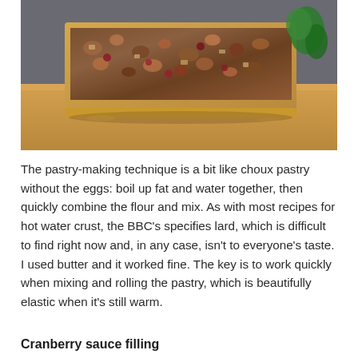[Figure (photo): A cross-section slice of a savory pie with chunky filling including meat, nuts, and cranberries, encased in a golden hot water crust pastry, resting on a wooden chopping board with kitchen background.]
The pastry-making technique is a bit like choux pastry without the eggs: boil up fat and water together, then quickly combine the flour and mix. As with most recipes for hot water crust, the BBC’s specifies lard, which is difficult to find right now and, in any case, isn’t to everyone’s taste. I used butter and it worked fine. The key is to work quickly when mixing and rolling the pastry, which is beautifully elastic when it’s still warm.
Cranberry sauce filling